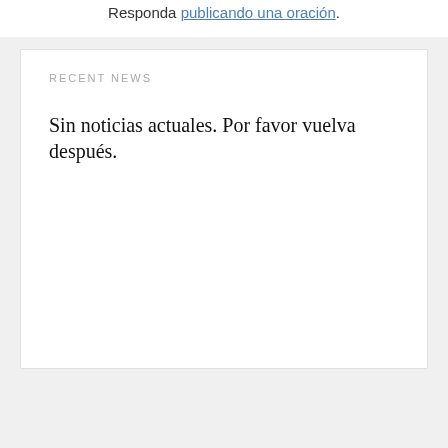Responda publicando una oración.
RECENT NEWS
Sin noticias actuales. Por favor vuelva después.